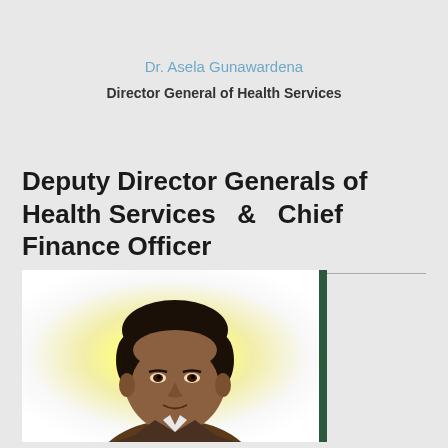Dr. Asela Gunawardena
Director General of Health Services
Deputy Director Generals of Health Services  &  Chief Finance Officer
[Figure (photo): Portrait photo of a man with dark hair against a bright yellowish glowing background, with a dark green vertical bar on the right side]